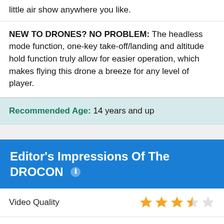little air show anywhere you like.
NEW TO DRONES? NO PROBLEM: The headless mode function, one-key take-off/landing and altitude hold function truly allow for easier operation, which makes flying this drone a breeze for any level of player.
Recommended Age: 14 years and up
Editor's Impressions Of The DROCON
Video Quality — 3.5 stars
Picture Quality — 3 stars